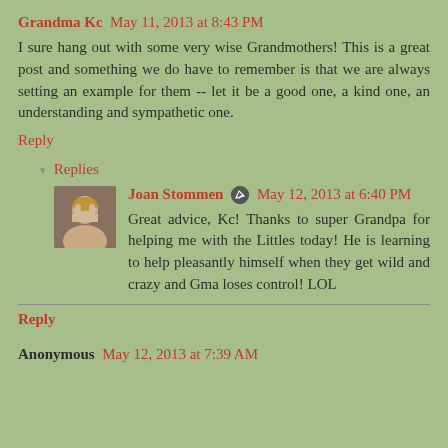Grandma Kc May 11, 2013 at 8:43 PM
I sure hang out with some very wise Grandmothers! This is a great post and something we do have to remember is that we are always setting an example for them -- let it be a good one, a kind one, an understanding and sympathetic one.
Reply
Replies
[Figure (photo): Profile photo of Joan Stommen, a woman with blonde hair]
Joan Stommen May 12, 2013 at 6:40 PM
Great advice, Kc! Thanks to super Grandpa for helping me with the Littles today! He is learning to help pleasantly himself when they get wild and crazy and Gma loses control! LOL
Reply
Anonymous May 12, 2013 at 7:39 AM